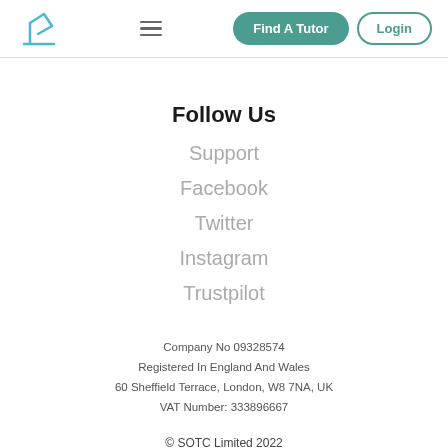Find A Tutor | Login
Follow Us
Support
Facebook
Twitter
Instagram
Trustpilot
Company No 09328574
Registered In England And Wales
60 Sheffield Terrace, London, W8 7NA, UK
VAT Number: 333896667
© SOTC Limited 2022